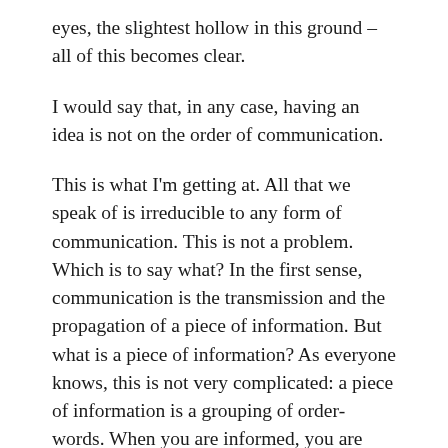eyes, the slightest hollow in this ground – all of this becomes clear.
I would say that, in any case, having an idea is not on the order of communication.
This is what I'm getting at. All that we speak of is irreducible to any form of communication. This is not a problem. Which is to say what? In the first sense, communication is the transmission and the propagation of a piece of information. But what is a piece of information? As everyone knows, this is not very complicated: a piece of information is a grouping of order-words. When you are informed, you are told what you are supposed to believe. In other words, informing is circulating a keyword. Police statements are aptly called communiqués. information is communicated to us; we are told what we.